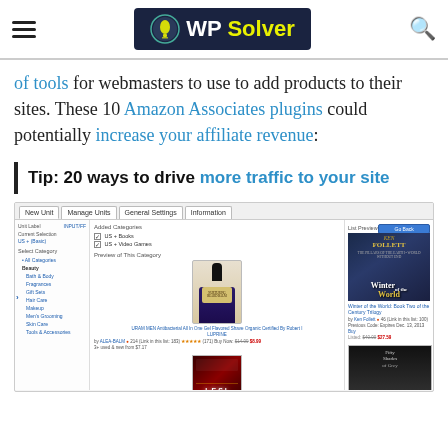WP Solver
of tools for webmasters to use to add products to their sites. These 10 Amazon Associates plugins could potentially increase your affiliate revenue:
Tip: 20 ways to drive more traffic to your site
[Figure (screenshot): Screenshot of a WordPress plugin admin interface showing New Unit, Manage Units, General Settings, and Information tabs. Left panel shows category selection with items like Toys & Accessories, Food, Lift Info, Hair Care, Makeup, Men's Grooming, Skin Care, Tools & Accessories. Middle panel shows Preview of This Category with a product image (dropper bottle). Right panel shows List Preview with Ken Follett's Winter of the World book cover and a Fifty Shades of Grey book cover. Buttons visible: Go Back, Create, Add Current Category, Delete Selection.]